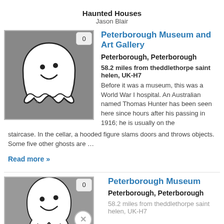Haunted Houses
Jason Blair
[Figure (illustration): Ghost illustration on grey background with badge showing '0']
Peterborough Museum and Art Gallery
Peterborough, Peterborough
58.2 miles from theddlethorpe saint helen, UK-H7
Before it was a museum, this was a World War I hospital. An Australian named Thomas Hunter has been seen here since hours after his passing in 1916; he is usually on the staircase. In the cellar, a hooded figure slams doors and throws objects. Some five other ghosts are ...
Read more »
[Figure (illustration): Ghost illustration on grey background with badge showing '0', partially visible]
Peterborough Museum
Peterborough, Peterborough
58.2 miles from theddlethorpe saint helen, UK-H7